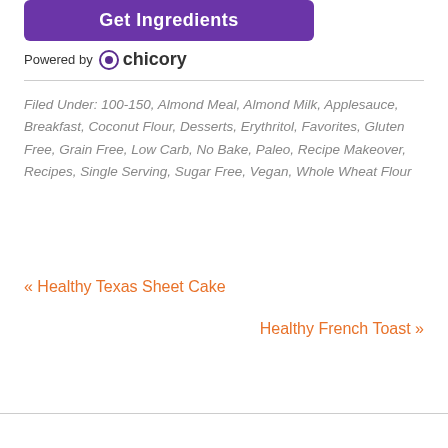[Figure (other): Purple 'Get Ingredients' button with Chicory branding below it (powered by chicory logo)]
Filed Under: 100-150, Almond Meal, Almond Milk, Applesauce, Breakfast, Coconut Flour, Desserts, Erythritol, Favorites, Gluten Free, Grain Free, Low Carb, No Bake, Paleo, Recipe Makeover, Recipes, Single Serving, Sugar Free, Vegan, Whole Wheat Flour
« Healthy Texas Sheet Cake
Healthy French Toast »